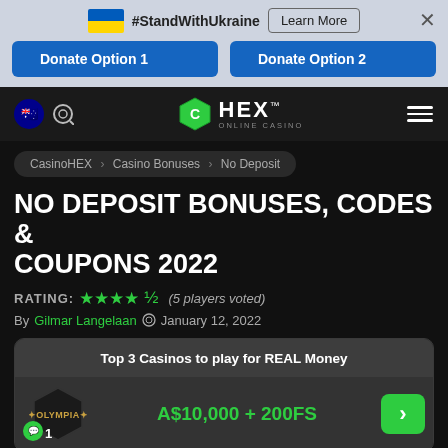[Figure (screenshot): Ukraine flag banner with #StandWithUkraine text, Learn More button, close X, and two blue Donate Option buttons]
[Figure (logo): HEX Online Casino navigation bar with Australian flag, search icon, HEX logo, and hamburger menu]
CasinoHEX › Casino Bonuses › No Deposit
NO DEPOSIT BONUSES, CODES & COUPONS 2022
RATING: ★★★★☆ (5 players voted)
By Gilmar Langelaan  January 12, 2022
Top 3 Casinos to play for REAL Money
1  Olympia  A$10,000 + 200FS  >